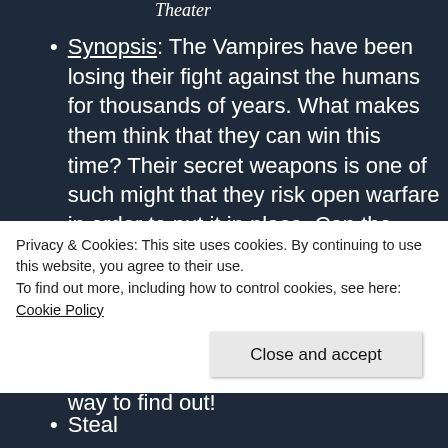Theater
Synopsis: The Vampires have been losing their fight against the humans for thousands of years. What makes them think that they can win this time? Their secret weapons is one of such might that they risk open warfare in order to put it in place. Can the human race withstand this latest threat? Will mankind be able to put their differences aside to win? What is this secret weapon that has given the vampires such confidence? Only one way to find out!
Privacy & Cookies: This site uses cookies. By continuing to use this website, you agree to their use.
To find out more, including how to control cookies, see here: Cookie Policy
Close and accept
Steal